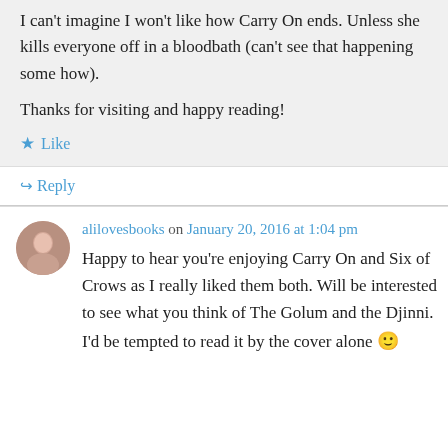I can't imagine I won't like how Carry On ends. Unless she kills everyone off in a bloodbath (can't see that happening some how).
Thanks for visiting and happy reading!
Like
Reply
alilovesbooks on January 20, 2016 at 1:04 pm
Happy to hear you're enjoying Carry On and Six of Crows as I really liked them both. Will be interested to see what you think of The Golum and the Djinni. I'd be tempted to read it by the cover alone 🙂